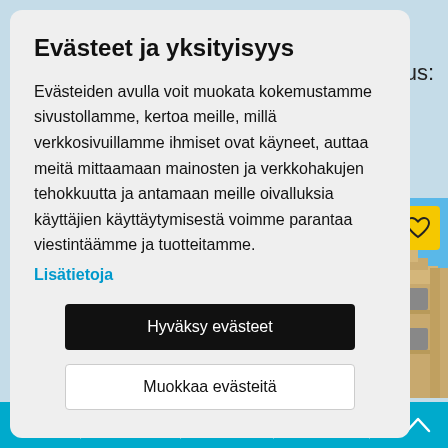Evästeet ja yksityisyys
Evästeiden avulla voit muokata kokemustamme sivustollamme, kertoa meille, millä verkkosivuillamme ihmiset ovat käyneet, auttaa meitä mittaamaan mainosten ja verkkohakujen tehokkuutta ja antamaan meille oivalluksia käyttäjien käyttäytymisestä voimme parantaa viestintäämme ja tuotteitamme.
Lisätietoja
Hyväksy evästeet
Muokkaa evästeitä
[Figure (screenshot): House building photo with blue sky background and yellow heart/favorite button overlay]
Bottom navigation toolbar with heart, email, phone, share, and chevron-up icons